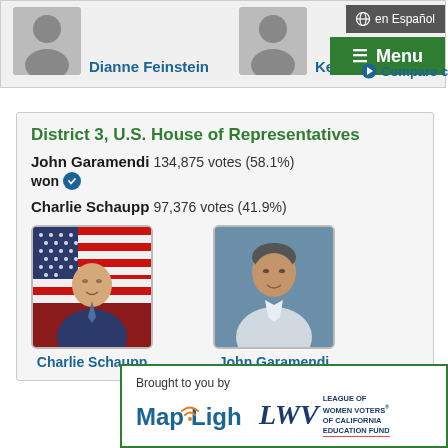Dianne Feinstein
Kevin de León
en Español
☰ Menu
Compare candidates
District 3, U.S. House of Representatives
John Garamendi  134,875 votes (58.1%)  won ✓
Charlie Schaupp  97,376 votes (41.9%)
[Figure (photo): Portrait photo of Charlie Schaupp in front of American flag]
Charlie Schaupp
[Figure (photo): Portrait photo of John Garamendi]
John Garamendi
Brought to you by
[Figure (logo): MapLight logo]
[Figure (logo): League of Women Voters of California Education Fund logo]